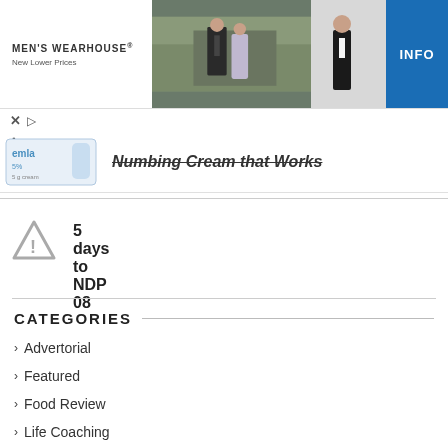[Figure (illustration): Men's Wearhouse advertisement banner showing a couple in formal wear, a man in a tuxedo standing alone, and an INFO button. Text reads MEN'S WEARHOUSE New Lower Prices.]
[Figure (illustration): Second advertisement section showing a numbing cream product (emla) with text 'Numbing Cream that Works' and an upward chevron arrow. X and play controls visible.]
5 days to NDP 08
CATEGORIES
Advertorial
Featured
Food Review
Life Coaching